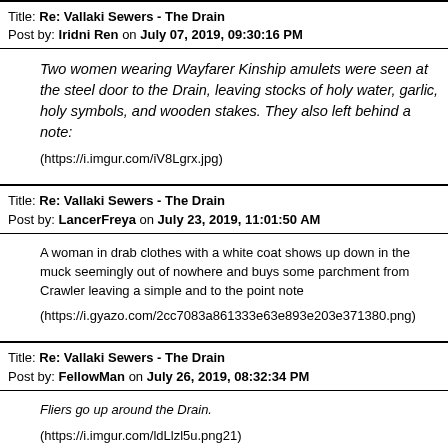Title: Re: Vallaki Sewers - The Drain
Post by: Iridni Ren on July 07, 2019, 09:30:16 PM
Two women wearing Wayfarer Kinship amulets were seen at the steel door to the Drain, leaving stocks of holy water, garlic, holy symbols, and wooden stakes. They also left behind a note:

(https://i.imgur.com/iV8Lgrx.jpg)
Title: Re: Vallaki Sewers - The Drain
Post by: LancerFreya on July 23, 2019, 11:01:50 AM
A woman in drab clothes with a white coat shows up down in the muck seemingly out of nowhere and buys some parchment from Crawler leaving a simple and to the point note

(https://i.gyazo.com/2cc7083a861333e63e893e203e371380.png)
Title: Re: Vallaki Sewers - The Drain
Post by: FellowMan on July 26, 2019, 08:32:34 PM
Fliers go up around the Drain.

(https://i.imgur.com/ldLlzl5u.png21)